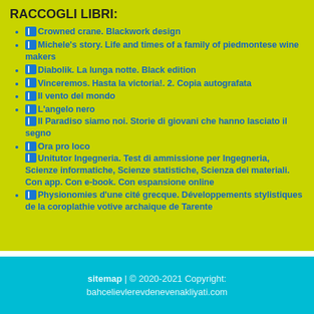RACCOGLI LIBRI:
Crowned crane. Blackwork design
Michele's story. Life and times of a family of piedmontese wine makers
Diabolik. La lunga notte. Black edition
Vinceremos. Hasta la victoria!. 2. Copia autografata
Il vento del mondo
L'angelo nero
Il Paradiso siamo noi. Storie di giovani che hanno lasciato il segno
Ora pro loco
Unitutor Ingegneria. Test di ammissione per Ingegneria, Scienze informatiche, Scienze statistiche, Scienza dei materiali. Con app. Con e-book. Con espansione online
Physionomies d'une cité grecque. Développements stylistiques de la coroplathie votive archaique de Tarente
sitemap | © 2020-2021 Copyright: bahcelievlerevdenevenakliyati.com